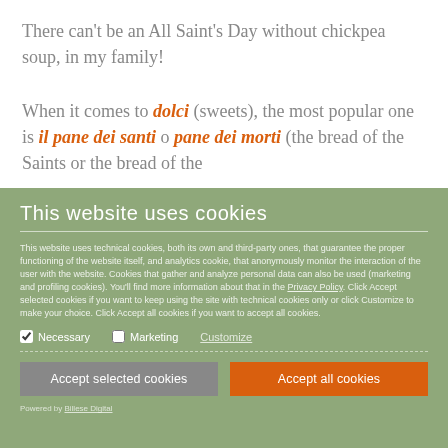There can't be an All Saint's Day without chickpea soup, in my family!
When it comes to dolci (sweets), the most popular one is il pane dei santi o pane dei morti (the bread of the Saints or the bread of the
This website uses cookies
This website uses technical cookies, both its own and third-party ones, that guarantee the proper functioning of the website itself, and analytics cookie, that anonymously monitor the interaction of the user with the website. Cookies that gather and analyze personal data can also be used (marketing and profiling cookies). You'll find more information about that in the Privacy Policy. Click Accept selected cookies if you want to keep using the site with technical cookies only or click Customize to make your choice. Click Accept all cookies if you want to accept all cookies.
Necessary  Marketing  Customize
Accept selected cookies
Accept all cookies
Powered by Billese Digital